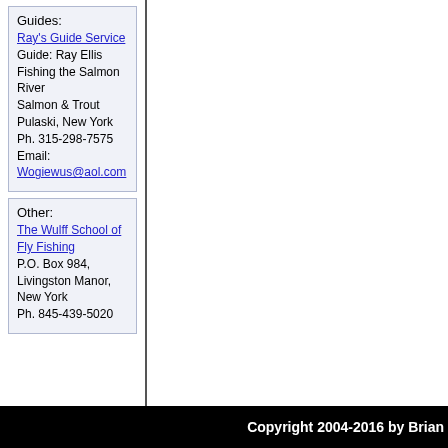Guides:
Ray's Guide Service
Guide: Ray Ellis
Fishing the Salmon River
Salmon & Trout
Pulaski, New York
Ph. 315-298-7575
Email:
Wogiewus@aol.com
Other:
The Wulff School of Fly Fishing
P.O. Box 984, Livingston Manor, New York
Ph. 845-439-5020
Copyright 2004-2016 by Brian